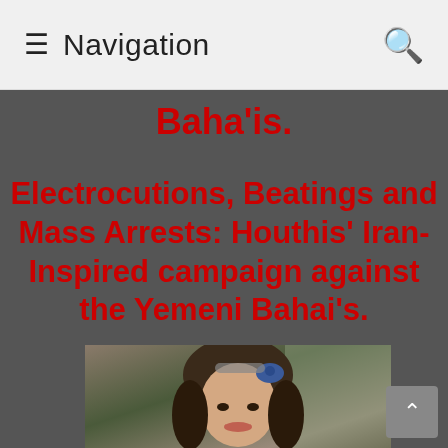≡ Navigation 🔍
Baha'is.
Electrocutions, Beatings and Mass Arrests: Houthis' Iran-Inspired campaign against the Yemeni Bahai's.
[Figure (photo): Photograph of a young woman with brown hair and a blue floral hair accessory, smiling, with a rocky background.]